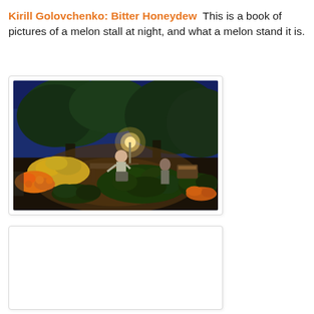Kirill Golovchenko: Bitter Honeydew  This is a book of pictures of a melon stall at night, and what a melon stand it is.
[Figure (photo): Nighttime outdoor melon and fruit stall lit by a bright lamp. A vendor stands behind a table piled with melons and oranges. Large piles of watermelons and other produce are arranged on the ground. Trees are visible in the dark blue background.]
[Figure (photo): Partially visible second photo, mostly white/blank, appears to be loading or cut off at the bottom of the page.]